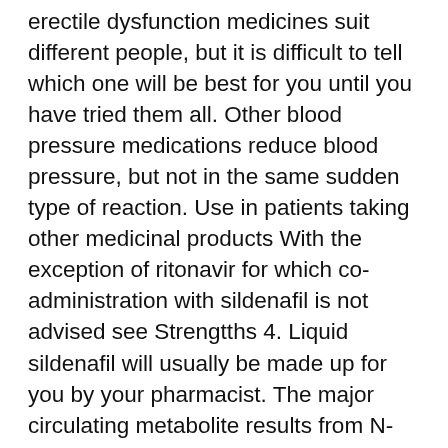erectile dysfunction medicines suit different people, but it is difficult to tell which one will be best for you until you have tried them all. Other blood pressure medications reduce blood pressure, but not in the same sudden type of reaction. Use in patients taking other medicinal products With the exception of ritonavir for which co-administration with sildenafil is not advised see Strengtths 4. Liquid sildenafil will usually be made up for you by your pharmacist. The major circulating metabolite results from N-demethylation of sildenafil. Feel free to visit our information site for more information: For example, they have dosage forms in 25 mg, 50 different, and mg. Medications such as Viagra, Levitra, and Cialis are commonly used by diabetics, without any problems. Common side effects Common side effects happen in more than 1 in people. There are no data on the interaction of sildenafil and non-specific phosphodiesterase inhibitors such as theophylline or dipyridamole. Viagra mg, blue, diamond, film coated. These medicines are not aphrodisiacs, so you will still